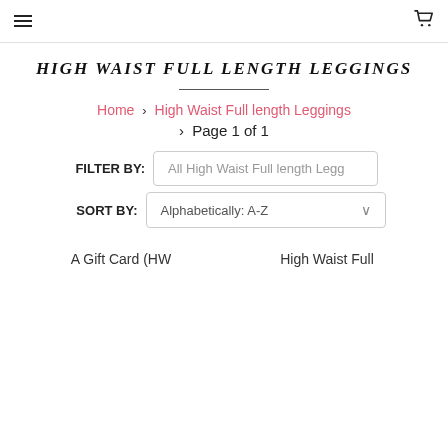Menu | Cart
HIGH WAIST FULL LENGTH LEGGINGS
Home › High Waist Full length Leggings › Page 1 of 1
FILTER BY: All High Waist Full length Legg
SORT BY: Alphabetically: A-Z
A Gift Card (HW    High Waist Full